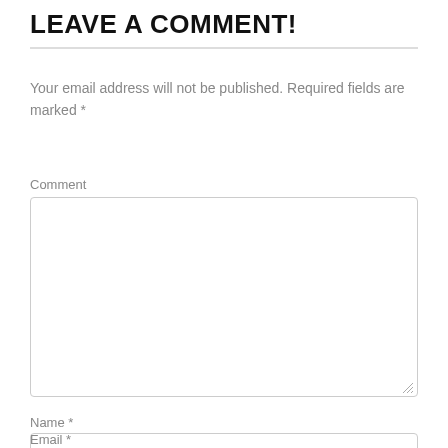LEAVE A COMMENT!
Your email address will not be published. Required fields are marked *
Comment
Name *
Email *